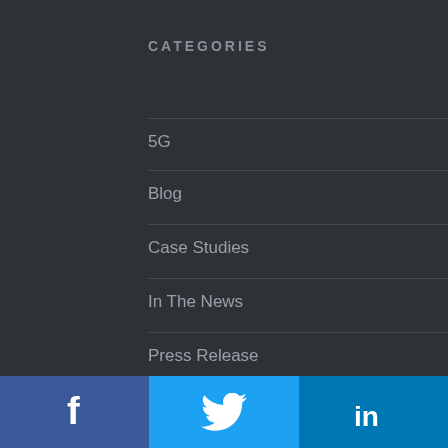CATEGORIES
5G
Blog
Case Studies
In The News
Press Release
[Figure (other): Social media footer with Facebook, Twitter, and LinkedIn icons]